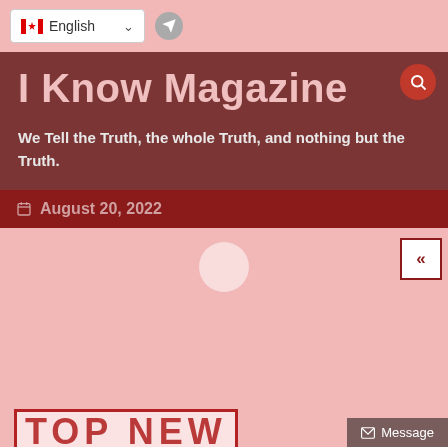English
I Know Magazine
We Tell the Truth, the whole Truth, and nothing but the Truth.
August 20, 2022
[Figure (screenshot): Light pink content area with circular play button shape and back navigation button (<<)]
[Figure (illustration): TOP NEWS rubber stamp style text in red with distressed/grunge effect]
Message